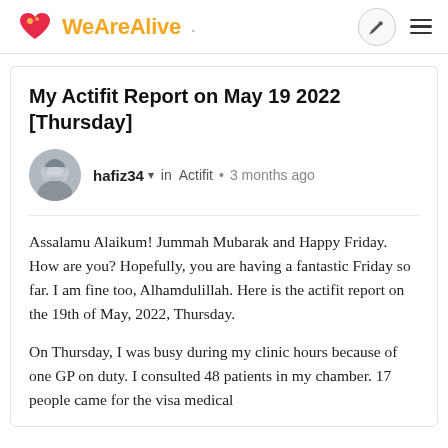WeAreAlive
My Actifit Report on May 19 2022 [Thursday]
hafiz34 ▾ in Actifit • 3 months ago
Assalamu Alaikum! Jummah Mubarak and Happy Friday. How are you? Hopefully, you are having a fantastic Friday so far. I am fine too, Alhamdulillah. Here is the actifit report on the 19th of May, 2022, Thursday.
On Thursday, I was busy during my clinic hours because of one GP on duty. I consulted 48 patients in my chamber. 17 people came for the visa medical